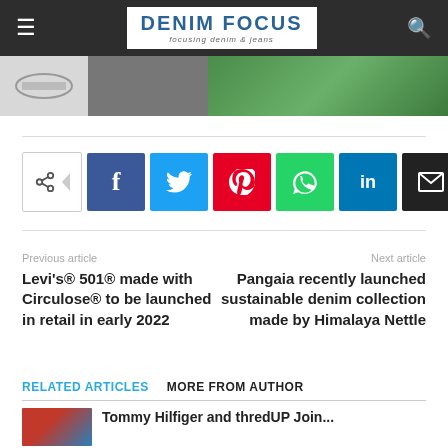DENIM FOCUS — focusing denim & jeans
[Figure (photo): Partial image strip showing a logo on left, a dark photo in center, and a green outdoor photo on right]
[Figure (infographic): Social sharing buttons row: share icon, Facebook, Twitter, Pinterest, WhatsApp, LinkedIn, Email, Print]
Previous article
Levi's® 501® made with Circulose® to be launched in retail in early 2022
Next article
Pangaia recently launched sustainable denim collection made by Himalaya Nettle
RELATED ARTICLES   MORE FROM AUTHOR
Tommy Hilfiger and thredUP Join...